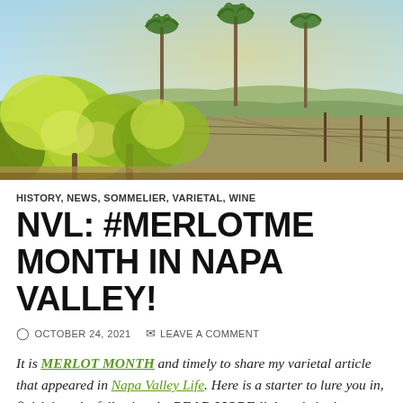[Figure (photo): Vineyard photo showing green grapevine leaves in the foreground with rows of vines extending into the distance, palm trees and hills in the background under a clear blue sky — Napa Valley vineyard scene.]
HISTORY, NEWS, SOMMELIER, VARIETAL, WINE
NVL: #MERLOTME MONTH IN NAPA VALLEY!
OCTOBER 24, 2021   LEAVE A COMMENT
It is MERLOT MONTH and timely to share my varietal article that appeared in Napa Valley Life. Here is a starter to lure you in, finish it up by following the READ MORE link to their site... Cheers!